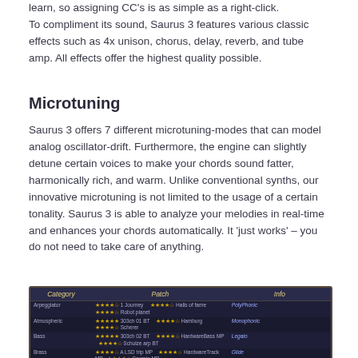learn, so assigning CC's is as simple as a right-click. To compliment its sound, Saurus 3 features various classic effects such as 4x unison, chorus, delay, reverb, and tube amp. All effects offer the highest quality possible.
Microtuning
Saurus 3 offers 7 different microtuning-modes that can model analog oscillator-drift. Furthermore, the engine can slightly detune certain voices to make your chords sound fatter, harmonically rich, and warm. Unlike conventional synths, our innovative microtuning is not limited to the usage of a certain tonality. Saurus 3 is able to analyze your melodies in real-time and enhances your chords automatically. It ‘just works’ – you do not need to take care of anything.
[Figure (screenshot): Screenshot of Saurus 3 patch browser showing Category, Patch, and Info columns with various patches listed]